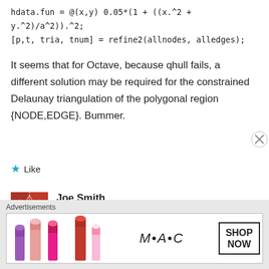hdata.fun = @(x,y) 0.05*(1 + ((x.^2 + y.^2)/a^2)).^2;
[p,t, tria, tnum] = refine2(allnodes, alledges);
It seems that for Octave, because qhull fails, a different solution may be required for the constrained Delaunay triangulation of the polygonal region {NODE,EDGE}. Bummer.
★ Like
Joe Smith
June 2, 2021 at 4:49 am
Advertisements
[Figure (illustration): MAC cosmetics advertisement banner showing lipsticks in purple, salmon, and red colors with MAC logo and SHOP NOW button]